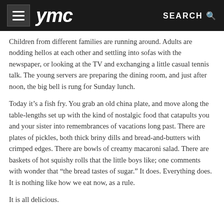ymc  SEARCH
Children from different families are running around. Adults are nodding hellos at each other and settling into sofas with the newspaper, or looking at the TV and exchanging a little casual tennis talk. The young servers are preparing the dining room, and just after noon, the big bell is rung for Sunday lunch.
Today it’s a fish fry. You grab an old china plate, and move along the table-lengths set up with the kind of nostalgic food that catapults you and your sister into remembrances of vacations long past. There are plates of pickles, both thick briny dills and bread-and-butters with crimped edges. There are bowls of creamy macaroni salad. There are baskets of hot squishy rolls that the little boys like; one comments with wonder that “the bread tastes of sugar.” It does. Everything does. It is nothing like how we eat now, as a rule.
It is all delicious.